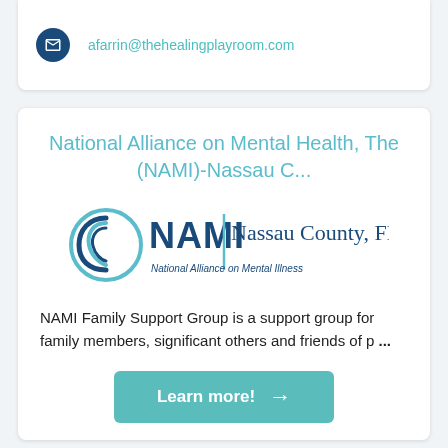afarrin@thehealingplayroom.com
National Alliance on Mental Health, The (NAMI)-Nassau C...
[Figure (logo): NAMI Nassau County FL logo — circular NAMI swirl icon on left, bold 'NAMI' text, vertical divider, 'Nassau County, FL' serif text, 'National Alliance on Mental Illness' tagline below]
NAMI Family Support Group is a support group for family members, significant others and friends of p ...
Learn more!
Alachua Building 32 N 3rd St., Fernandina Beach, FL, 32034
(904) 277-1886
contact@naminassauflorida.org